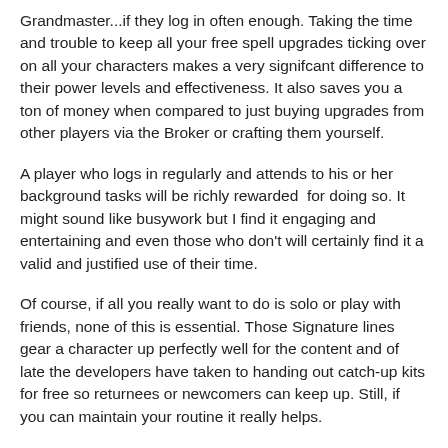Grandmaster...if they log in often enough. Taking the time and trouble to keep all your free spell upgrades ticking over on all your characters makes a very signifcant difference to their power levels and effectiveness. It also saves you a ton of money when compared to just buying upgrades from other players via the Broker or crafting them yourself.
A player who logs in regularly and attends to his or her background tasks will be richly rewarded  for doing so. It might sound like busywork but I find it engaging and entertaining and even those who don't will certainly find it a valid and justified use of their time.
Of course, if all you really want to do is solo or play with friends, none of this is essential. Those Signature lines gear a character up perfectly well for the content and of late the developers have taken to handing out catch-up kits for free so returnees or newcomers can keep up. Still, if you can maintain your routine it really helps.
When the Path of Prophecy expansion launched last year the signature tradeskill quest wasn't ready. It finally arrived in